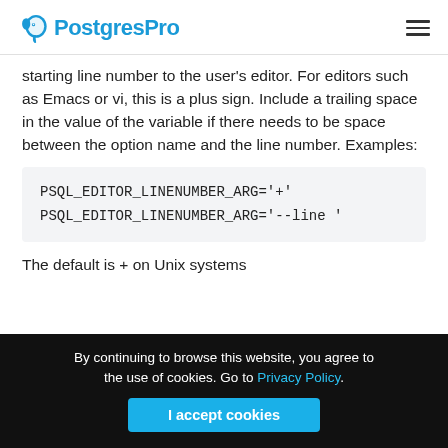PostgresPro
starting line number to the user's editor. For editors such as Emacs or vi, this is a plus sign. Include a trailing space in the value of the variable if there needs to be space between the option name and the line number. Examples:
PSQL_EDITOR_LINENUMBER_ARG='+'
PSQL_EDITOR_LINENUMBER_ARG='--line '
The default is + on Unix systems
By continuing to browse this website, you agree to the use of cookies. Go to Privacy Policy.
I accept cookies